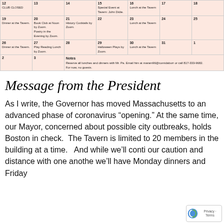| Sun | Mon | Tue | Wed | Thu | Fri | Sat |
| --- | --- | --- | --- | --- | --- | --- |
| 12
CLUB CLOSED | 13 | 14 | 15
Special Event at Tavern: John Didie. | 16
Lunch at the Tavern | 17 | 18 |
| 19
Dinner at the Tavern. | 20
Book Club at Noon by Zoom.
Poetry in the Evening by Zoom. | 21
History Cocktails by Zoom. | 22 | 23
Lunch at the Tavern | 24 | 25 |
| 26
Dinner at the Tavern. | 27
Play Reading Lunch by Zoom. | 28 | 29
Halloween Plays by Zoom. | 30
Lunch at the Tavern | 31 | 1 |
| 2 | 3 | Notes
Reserve all lunches and dinners with Mr. Pa. Email him at maram96@comidaburr or call 817-333-9682.
For now, no guests. |  |  |  |  |
Message from the President
As I write, the Governor has moved Massachusetts to an advanced phase of coronavirus “opening.” At the same time, our Mayor, concerned about possible city outbreaks, holds Boston in check. The Tavern is limited to 20 members in the building at a time. And while we’ll conti our caution and distance with one anothe we’ll have Monday dinners and Friday